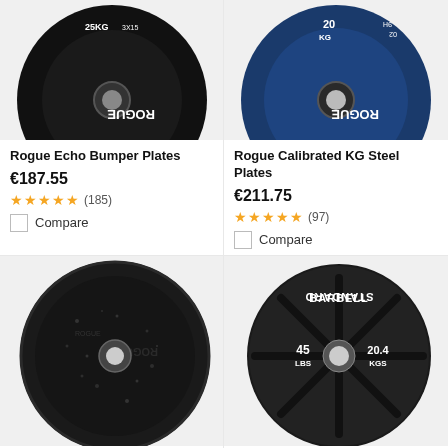[Figure (photo): Rogue Echo Bumper Plate - black weight plate, 25KG label]
Rogue Echo Bumper Plates
€187.55
★★★★★ (185)
Compare
[Figure (photo): Rogue Calibrated KG Steel Plate - blue weight plate, 20KG label]
Rogue Calibrated KG Steel Plates
€211.75
★★★★★ (97)
Compare
[Figure (photo): Black crumb rubber bumper weight plate]
[Figure (photo): Black standard barbell plate - 45 LBS / 20.4 KGS, BARBELL STANDARD label]